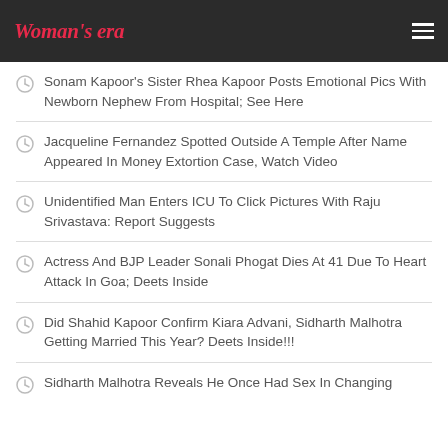Woman's era
Sonam Kapoor’s Sister Rhea Kapoor Posts Emotional Pics With Newborn Nephew From Hospital; See Here
Jacqueline Fernandez Spotted Outside A Temple After Name Appeared In Money Extortion Case, Watch Video
Unidentified Man Enters ICU To Click Pictures With Raju Srivastava: Report Suggests
Actress And BJP Leader Sonali Phogat Dies At 41 Due To Heart Attack In Goa; Deets Inside
Did Shahid Kapoor Confirm Kiara Advani, Sidharth Malhotra Getting Married This Year? Deets Inside!!!
Sidharth Malhotra Reveals He Once Had Sex In Changing